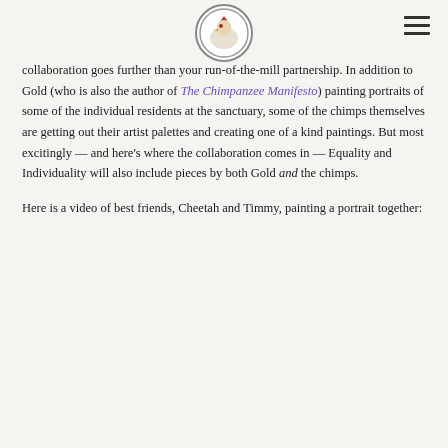[Logo: Our Hen House] [Hamburger menu]
collaboration goes further than your run-of-the-mill partnership. In addition to Gold (who is also the author of The Chimpanzee Manifesto) painting portraits of some of the individual residents at the sanctuary, some of the chimps themselves are getting out their artist palettes and creating one of a kind paintings. But most excitingly — and here's where the collaboration comes in — Equality and Individuality will also include pieces by both Gold and the chimps.
Here is a video of best friends, Cheetah and Timmy, painting a portrait together: